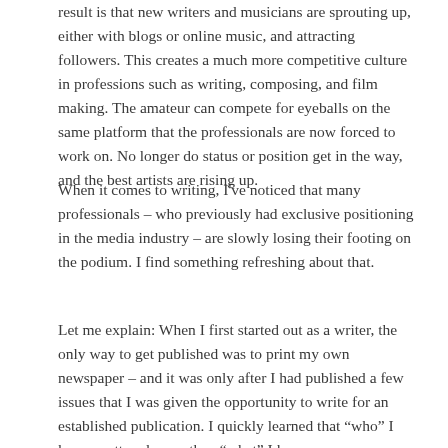result is that new writers and musicians are sprouting up, either with blogs or online music, and attracting followers. This creates a much more competitive culture in professions such as writing, composing, and film making. The amateur can compete for eyeballs on the same platform that the professionals are now forced to work on. No longer do status or position get in the way, and the best artists are rising up.
When it comes to writing, I've noticed that many professionals – who previously had exclusive positioning in the media industry – are slowly losing their footing on the podium. I find something refreshing about that.
Let me explain: When I first started out as a writer, the only way to get published was to print my own newspaper – and it was only after I had published a few issues that I was given the opportunity to write for an established publication. I quickly learned that “who” I knew mattered more than “what” I knew.